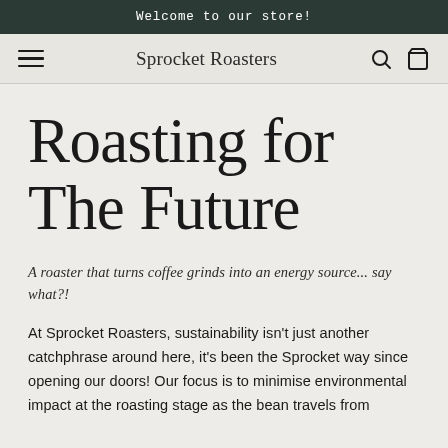Welcome to our store!
Sprocket Roasters
Roasting for The Future
A roaster that turns coffee grinds into an energy source... say what?!
At Sprocket Roasters, sustainability isn't just another catchphrase around here, it's been the Sprocket way since opening our doors! Our focus is to minimise environmental impact at the roasting stage as the bean travels from